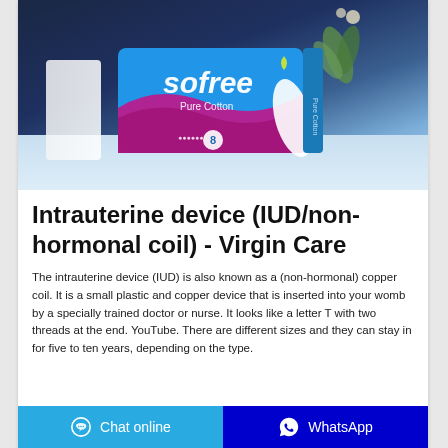[Figure (photo): Product photo of Sofree Pure Cotton sanitary pads package in pink and blue packaging, placed on a white surface with a plant in the background against a dark blue wall.]
Intrauterine device (IUD/non-hormonal coil) - Virgin Care
The intrauterine device (IUD) is also known as a (non-hormonal) copper coil. It is a small plastic and copper device that is inserted into your womb by a specially trained doctor or nurse. It looks like a letter T with two threads at the end. YouTube. There are different sizes and they can stay in for five to ten years, depending on the type.
Chat online   WhatsApp